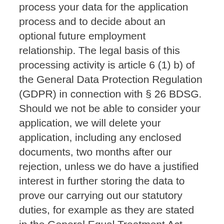process your data for the application process and to decide about an optional future employment relationship. The legal basis of this processing activity is article 6 (1) b) of the General Data Protection Regulation (GDPR) in connection with § 26 BDSG. Should we not be able to consider your application, we will delete your application, including any enclosed documents, two months after our rejection, unless we do have a justified interest in further storing the data to prove our carrying out our statutory duties, for example as they are stated in the General Equal Treatment Act (GETA). In this case we will delete the data as soon as the reason ceases to exist. The legal basis of this processing activity is article 6 (1) f) of the General Data Protection Regulation (GDPR) in connection with § 26 BDSG. You can object to further processing of your data at any time by withdrawing